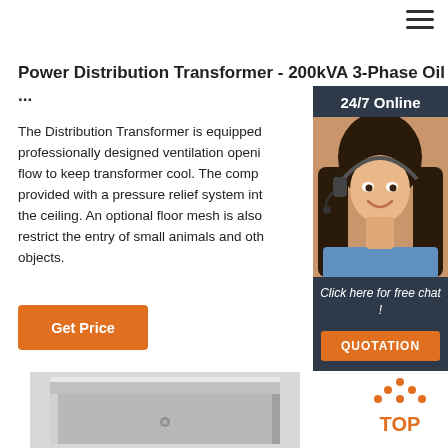[Figure (other): Hamburger menu icon (three horizontal lines) in top right corner]
Power Distribution Transformer - 200kVA 3-Phase Oil Cooled ...
The Distribution Transformer is equipped professionally designed ventilation opening flow to keep transformer cool. The compa provided with a pressure relief system int the ceiling. An optional floor mesh is also restrict the entry of small animals and oth objects.
[Figure (other): Orange 'Get Price' button]
[Figure (photo): Sidebar panel with '24/7 Online' header, photo of woman with headset smiling, 'Click here for free chat!' text, and orange QUOTATION button]
[Figure (photo): Bottom portion showing top edge of a distribution transformer unit (metallic gray)]
[Figure (logo): Orange 'TOP' back-to-top button with dots arranged in upward arrow shape]